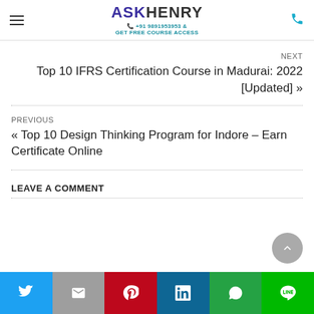ASKHENRY +91 9891953953 & GET FREE COURSE ACCESS
NEXT
Top 10 IFRS Certification Course in Madurai: 2022 [Updated] »
PREVIOUS
« Top 10 Design Thinking Program for Indore – Earn Certificate Online
LEAVE A COMMENT